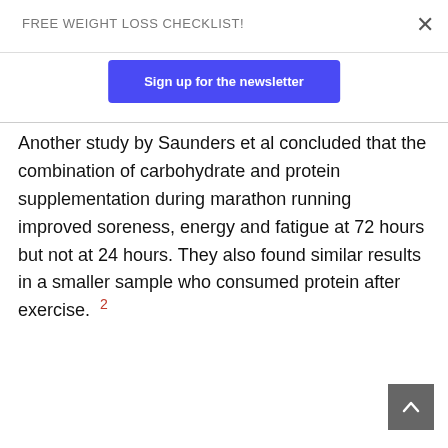FREE WEIGHT LOSS CHECKLIST!
Sign up for the newsletter
Another study by Saunders et al concluded that the combination of carbohydrate and protein supplementation during marathon running improved soreness, energy and fatigue at 72 hours but not at 24 hours. They also found similar results in a smaller sample who consumed protein after exercise. 2